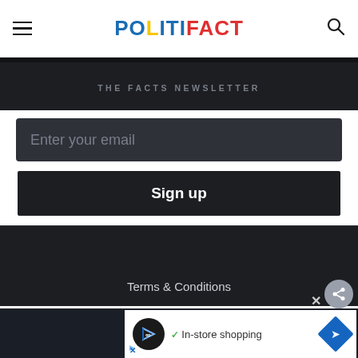POLITIFACT
THE FACTS NEWSLETTER
Enter your email
Sign up
Terms & Conditions
In-store shopping